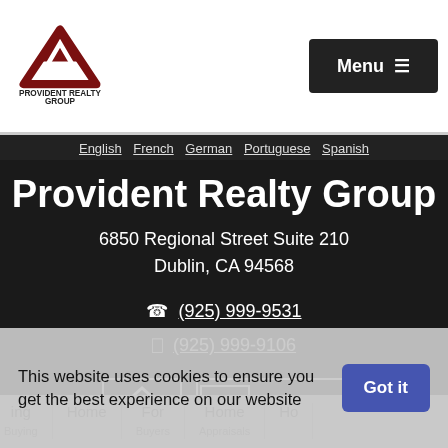[Figure (logo): Provident Realty Group mountain logo in dark red]
Menu ≡
English French German Portuguese Spanish
Provident Realty Group
6850 Regional Street Suite 210
Dublin, CA 94568
(925) 999-9531
(925) 999-9106
[Figure (logo): Equal Housing Opportunity logo]
[Figure (logo): Realtor MLS Multiple Listing Services logo]
Licensed by the California Department of Real Para license #01635115
This website uses cookies to ensure you get the best experience on our website
Got it
ing  Home  For  Home  Ho